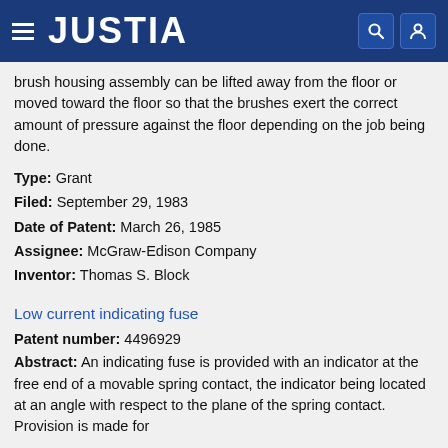JUSTIA
brush housing assembly can be lifted away from the floor or moved toward the floor so that the brushes exert the correct amount of pressure against the floor depending on the job being done.
Type: Grant
Filed: September 29, 1983
Date of Patent: March 26, 1985
Assignee: McGraw-Edison Company
Inventor: Thomas S. Block
Low current indicating fuse
Patent number: 4496929
Abstract: An indicating fuse is provided with an indicator at the free end of a movable spring contact, the indicator being located at an angle with respect to the plane of the spring contact. Provision is made for